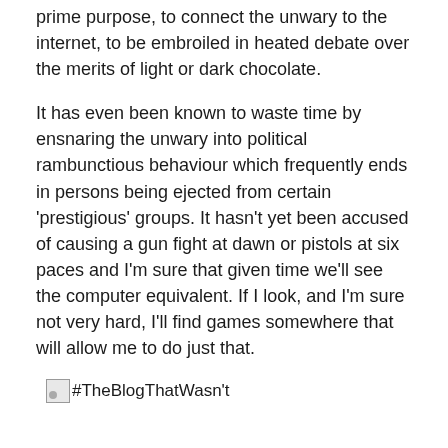prime purpose, to connect the unwary to the internet, to be embroiled in heated debate over the merits of light or dark chocolate.
It has even been known to waste time by ensnaring the unwary into political rambunctious behaviour which frequently ends in persons being ejected from certain 'prestigious' groups. It hasn't yet been accused of causing a gun fight at dawn or pistols at six paces and I'm sure that given time we'll see the computer equivalent. If I look, and I'm sure not very hard, I'll find games somewhere that will allow me to do just that.
[Figure (other): Small image thumbnail with alt text #TheBlogThatWasn't]